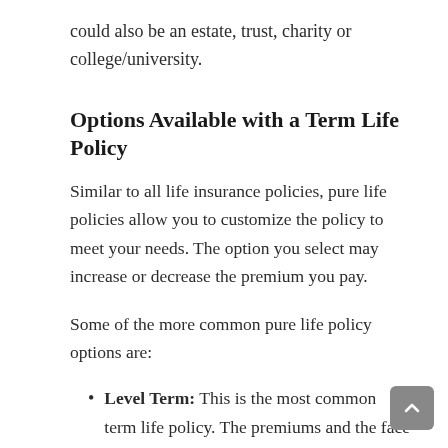could also be an estate, trust, charity or college/university.
Options Available with a Term Life Policy
Similar to all life insurance policies, pure life policies allow you to customize the policy to meet your needs. The option you select may increase or decrease the premium you pay.
Some of the more common pure life policy options are:
Level Term: This is the most common term life policy. The premiums and the face value